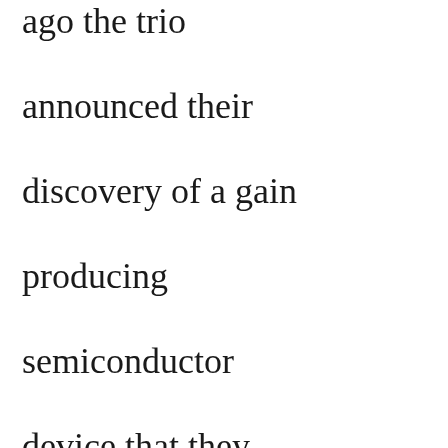ago the trio announced their discovery of a gain producing semiconductor device that they dubbed a 'transistor' due to its dual nature as a